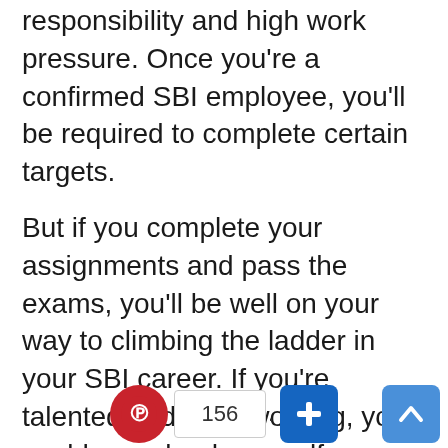responsibility and high work pressure. Once you're a confirmed SBI employee, you'll be required to complete certain targets.
But if you complete your assignments and pass the exams, you'll be well on your way to climbing the ladder in your SBI career. If you're talented and hard-working, you could even land yourself a foreign posting.
As an SBI PO, you can become a branch manager in 2 to 5 years, at which time you'll have to deal with a lot of stressful tasks involving business targets, customer complaints, routine operations, asset quality, and...